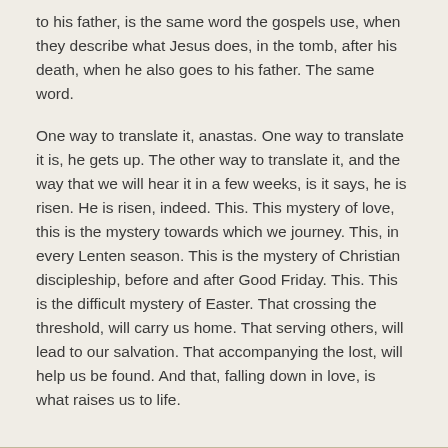to his father, is the same word the gospels use, when they describe what Jesus does, in the tomb, after his death, when he also goes to his father. The same word.
One way to translate it, anastas. One way to translate it is, he gets up. The other way to translate it, and the way that we will hear it in a few weeks, is it says, he is risen. He is risen, indeed. This. This mystery of love, this is the mystery towards which we journey. This, in every Lenten season. This is the mystery of Christian discipleship, before and after Good Friday. This. This is the difficult mystery of Easter. That crossing the threshold, will carry us home. That serving others, will lead to our salvation. That accompanying the lost, will help us be found. And that, falling down in love, is what raises us to life.
See also: Sermon, Matthew Ichihashi Potts, Lent